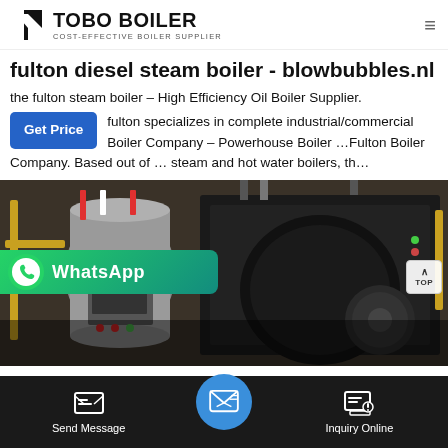TOBO BOILER — COST-EFFECTIVE BOILER SUPPLIER
fulton diesel steam boiler - blowbubbles.nl
the fulton steam boiler – High Efficiency Oil Boiler Supplier. fulton specializes in complete industrial/commercial Boiler Company – Powerhouse Boiler …Fulton Boiler Company. Based out of … steam and hot water boilers, th…
[Figure (photo): Industrial boiler equipment — multiple steam boilers with pipes and fittings in an industrial setting, dark metallic machinery visible.]
Send Message | Inquiry Online